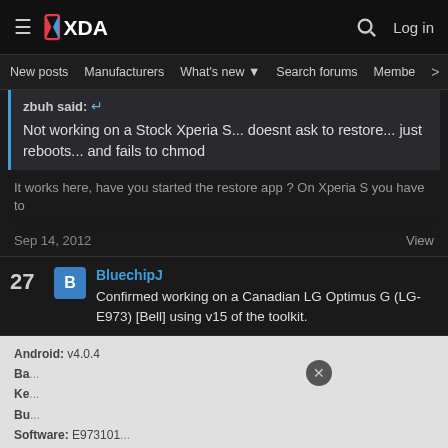XDA Developers - Log in
New posts  Manufacturers  What's new  Search forums  Members  >
zbuh said: ↵
Not working on a Stock Xperia S... doesnt ask to restore... just reboots... and fails to chmod
It works here, have you started the restore app ? On Xperia S you have to...
Sep 14, 2012   View
27  BluechipJ
Confirmed working on a Canadian LG Optimus G (LG-E973) [Bell] using v15 of the toolkit.
Android: v4.0.4
Ba...
Ke...
Bu...
Software: E973101...